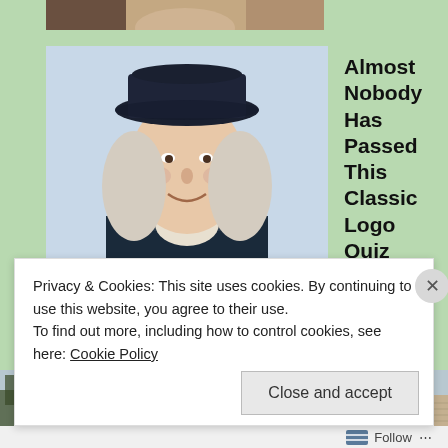[Figure (photo): Partial image strip at top, appears to be a portrait photo cropped]
[Figure (photo): Illustrated portrait of a historical figure (Quaker/colonial style) wearing a wide-brimmed hat and white cravat — logo quiz thumbnail]
Almost Nobody Has Passed This Classic Logo Quiz
WarpedSpeed
[Figure (photo): House exterior photo showing beige/tan vinyl siding, windows with shutters, gutters, trees in background]
Privacy & Cookies: This site uses cookies. By continuing to use this website, you agree to their use.
To find out more, including how to control cookies, see here: Cookie Policy
Close and accept
Follow